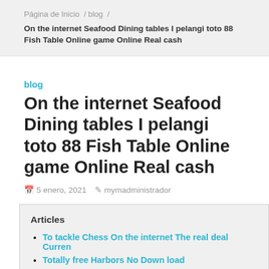Página de Inicio / blog /
On the internet Seafood Dining tables I pelangi toto 88 Fish Table Online game Online Real cash
blog
On the internet Seafood Dining tables I pelangi toto 88 Fish Table Online game Online Real cash
5 enero, 2021  mymadministrador
Articles
To tackle Chess On the internet The real deal Curren
Totally free Harbors No Down load
100 % free Games You to definitely Shell out A real in To own Playing